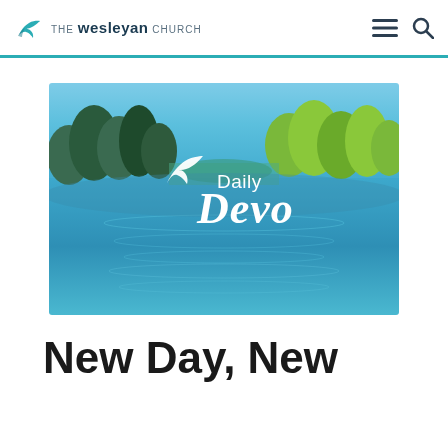THE wesleyan CHURCH
[Figure (photo): Lake scene with trees reflecting on calm water, overlaid with 'Daily Devo' logo (Wesleyan Church devotional branding) in white text with a dove/leaf icon]
New Day, New